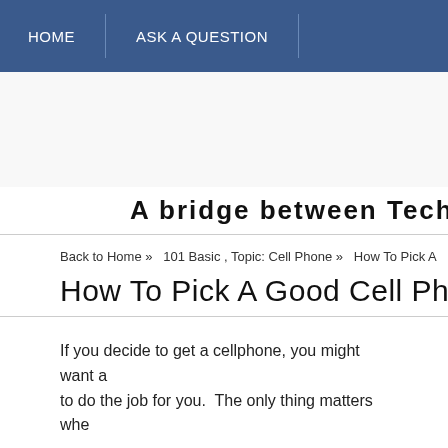HOME | ASK A QUESTION
A bridge between Tech and Seniors
Back to Home » 101 Basic, Topic: Cell Phone » How To Pick A
How To Pick A Good Cell Phone C
If you decide to get a cellphone, you might want a to do the job for you. The only thing matters whe